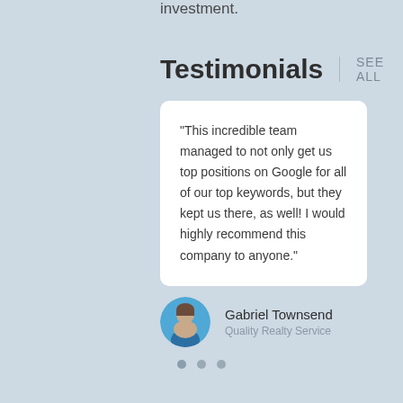investment.
Testimonials  |  SEE ALL
“This incredible team managed to not only get us top positions on Google for all of our top keywords, but they kept us there, as well! I would highly recommend this company to anyone.”
Gabriel Townsend
Quality Realty Service